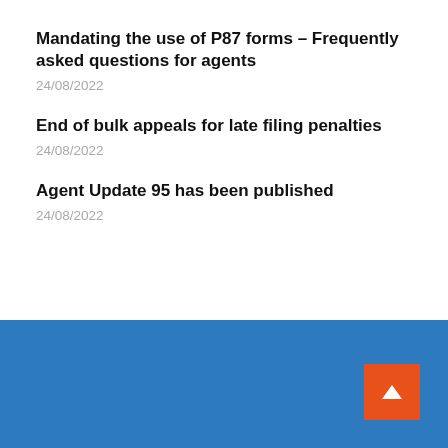Mandating the use of P87 forms – Frequently asked questions for agents
24/08/2022
End of bulk appeals for late filing penalties
24/08/2022
Agent Update 95 has been published
24/08/2022